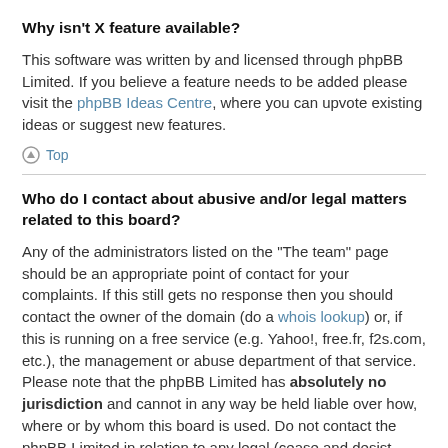Why isn't X feature available?
This software was written by and licensed through phpBB Limited. If you believe a feature needs to be added please visit the phpBB Ideas Centre, where you can upvote existing ideas or suggest new features.
Top
Who do I contact about abusive and/or legal matters related to this board?
Any of the administrators listed on the “The team” page should be an appropriate point of contact for your complaints. If this still gets no response then you should contact the owner of the domain (do a whois lookup) or, if this is running on a free service (e.g. Yahoo!, free.fr, f2s.com, etc.), the management or abuse department of that service. Please note that the phpBB Limited has absolutely no jurisdiction and cannot in any way be held liable over how, where or by whom this board is used. Do not contact the phpBB Limited in relation to any legal (cease and desist, liable, defamatory comment, etc.) matter not directly related to the phpBB.com website or the discrete software of phpBB itself. If you do email phpBB Limited about any third party use of this software then you should...